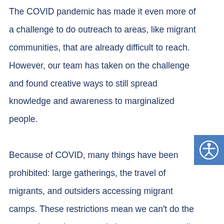The COVID pandemic has made it even more of a challenge to do outreach to areas, like migrant communities, that are already difficult to reach. However, our team has taken on the challenge and found creative ways to still spread knowledge and awareness to marginalized people.

Because of COVID, many things have been prohibited: large gatherings, the travel of migrants, and outsiders accessing migrant camps. These restrictions mean we can't do the outreach sessions or workshops as we normally would. We've had to get creative!